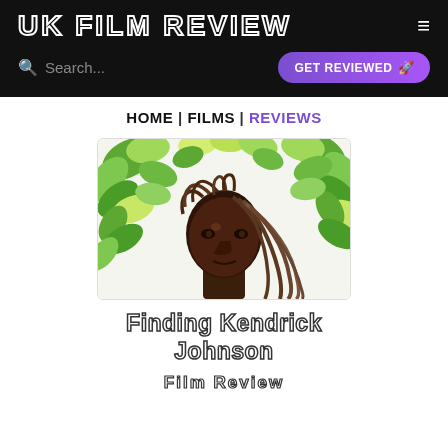UK FILM REVIEW
Search...   GET REVIEWED
HOME | FILMS | REVIEWS
[Figure (illustration): Illustrated portrait of a young person with dreadlocks surrounded by green leaves, serving as the movie poster art for 'Finding Kendrick Johnson']
Finding Kendrick Johnson
Film Review